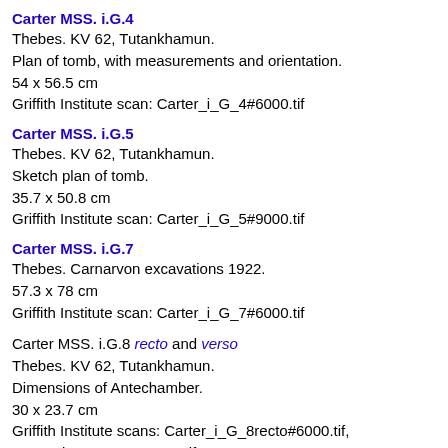Carter MSS. i.G.4
Thebes. KV 62, Tutankhamun.
Plan of tomb, with measurements and orientation.
54 x 56.5 cm
Griffith Institute scan: Carter_i_G_4#6000.tif
Carter MSS. i.G.5
Thebes. KV 62, Tutankhamun.
Sketch plan of tomb.
35.7 x 50.8 cm
Griffith Institute scan: Carter_i_G_5#9000.tif
Carter MSS. i.G.7
Thebes. Carnarvon excavations 1922.
57.3 x 78 cm
Griffith Institute scan: Carter_i_G_7#6000.tif
Carter MSS. i.G.8 recto and verso
Thebes. KV 62, Tutankhamun.
Dimensions of Antechamber.
30 x 23.7 cm
Griffith Institute scans: Carter_i_G_8recto#6000.tif, Carter_i_G_8verso#6000.tif
Carter MSS. i.G.9
Thebes. KV 62, Tutankhamun.
Dimensions of Treasury.